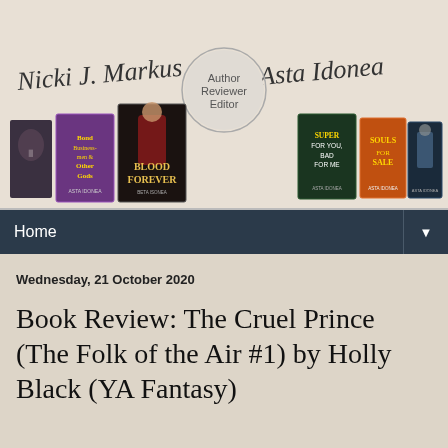[Figure (illustration): Blog header banner showing author names 'Nicki J. Markus' and 'Asta Idonea' in script font with a circular badge reading 'Author Reviewer Editor' in the center, and a row of book covers below on a beige background.]
Home
Wednesday, 21 October 2020
Book Review: The Cruel Prince (The Folk of the Air #1) by Holly Black (YA Fantasy)